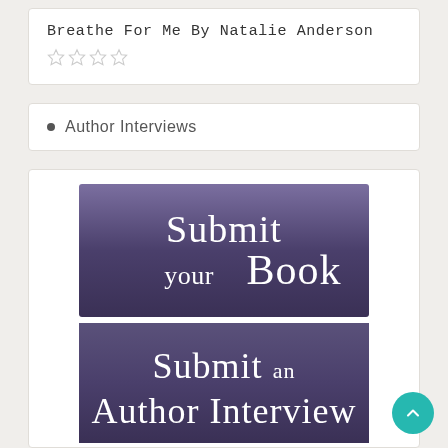Breathe For Me By Natalie Anderson
[Figure (other): Star rating widget showing 4 empty/outlined stars]
Author Interviews
[Figure (illustration): Purple gradient banner reading 'Submit your Book' in white serif text]
[Figure (illustration): Purple gradient banner reading 'Submit an Author Interview' in white serif text]